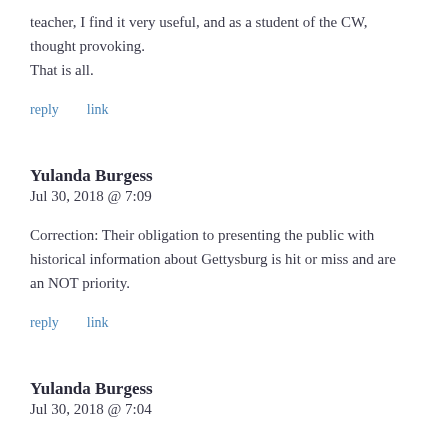teacher, I find it very useful, and as a student of the CW, thought provoking.
That is all.
reply   link
Yulanda Burgess
Jul 30, 2018 @ 7:09
Correction: Their obligation to presenting the public with historical information about Gettysburg is hit or miss and are an NOT priority.
reply   link
Yulanda Burgess
Jul 30, 2018 @ 7:04